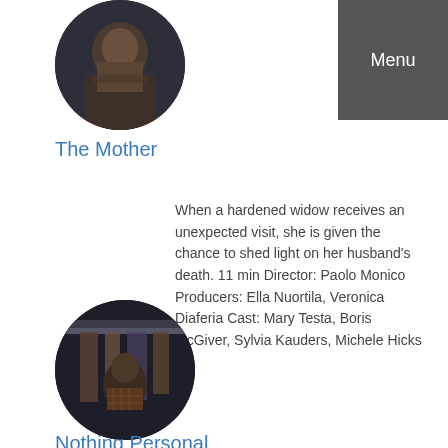[Figure (photo): Circular cropped dark photo of a person (The Mother)]
Menu
The Mother
When a hardened widow receives an unexpected visit, she is given the chance to shed light on her husband's death. 11 min Director: Paolo Monico Producers: Ella Nuortila, Veronica Diaferia Cast: Mary Testa, Boris McGiver, Sylvia Kauders, Michele Hicks
[Figure (photo): Circular cropped dark photo showing a person near a closet or wardrobe (Nothing Personal)]
Nothing Personal